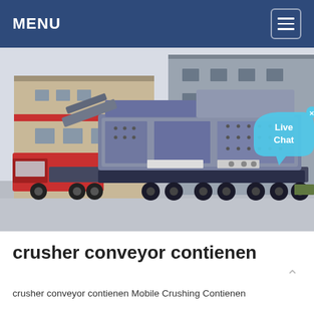MENU
[Figure (photo): Mobile crushing plant machine (large grey industrial crusher/conveyor on a truck chassis) parked in front of an industrial building. A red truck is visible on the left. A 'Live Chat' speech bubble overlay appears in the upper right of the image.]
crusher conveyor contienen
crusher conveyor contienen Mobile Crushing Contienen